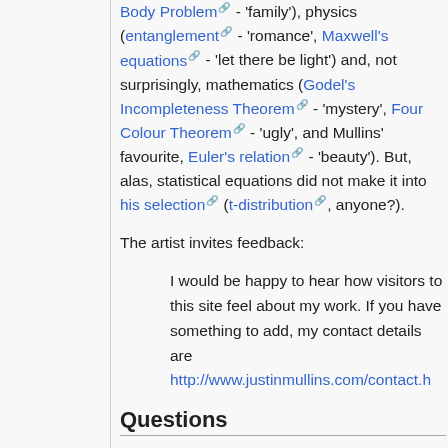Body Problem - 'family'), physics (entanglement - 'romance', Maxwell's equations - 'let there be light') and, not surprisingly, mathematics (Godel's Incompleteness Theorem - 'mystery', Four Colour Theorem - 'ugly', and Mullins' favourite, Euler's relation - 'beauty'). But, alas, statistical equations did not make it into his selection (t-distribution, anyone?).
The artist invites feedback:
I would be happy to hear how visitors to this site feel about my work. If you have something to add, my contact details are http://www.justinmullins.com/contact.h
Questions